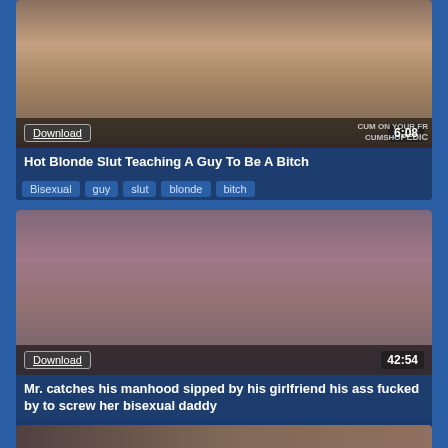[Figure (screenshot): Video thumbnail of adult content, top card]
Download
6:08
Hot Blonde Slut Teaching A Guy To Be A Bitch
Bisexual   guy   slut   blonde   bitch
[Figure (screenshot): Video thumbnail of adult content, bottom card]
Download
42:54
Mr. catches his manhood sipped by his girlfriend his ass fucked by to screw her bisexual daddy